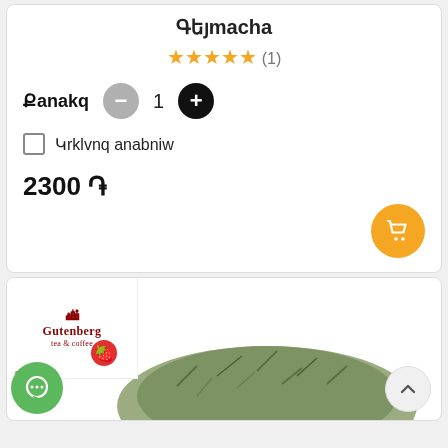Գեյmacha
★★★★★ (1)
Քanakq - 1
Կrklvnq anabniw
2300 ֏
[Figure (screenshot): Product card showing Gutenberg tea & coffee brand logo, a strawberry icon, and a heap of loose leaf green tea]
[Figure (illustration): Green chat bubble icon with speech dots at bottom left]
[Figure (illustration): Scroll-to-top button with up arrow at bottom right]